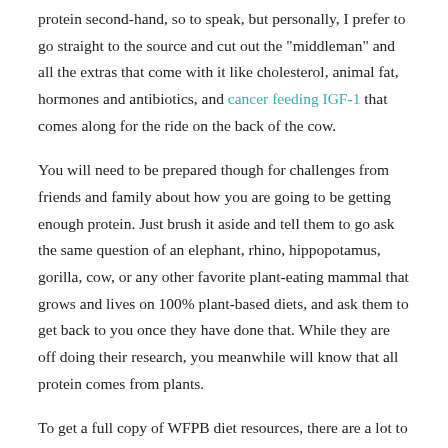protein second-hand, so to speak, but personally, I prefer to go straight to the source and cut out the "middleman" and all the extras that come with it like cholesterol, animal fat, hormones and antibiotics, and cancer feeding IGF-1 that comes along for the ride on the back of the cow.
You will need to be prepared though for challenges from friends and family about how you are going to be getting enough protein. Just brush it aside and tell them to go ask the same question of an elephant, rhino, hippopotamus, gorilla, cow, or any other favorite plant-eating mammal that grows and lives on 100% plant-based diets, and ask them to get back to you once they have done that. While they are off doing their research, you meanwhile will know that all protein comes from plants.
To get a full copy of WFPB diet resources, there are a lot to...